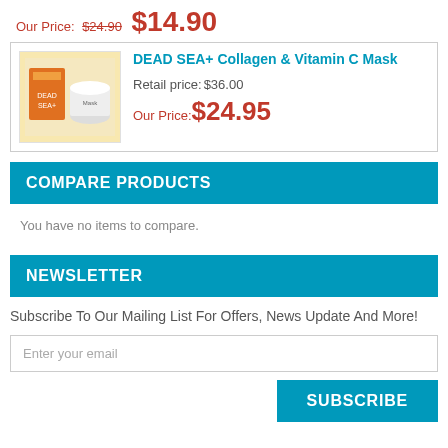Our Price: $24.90  $14.90
DEAD SEA+ Collagen & Vitamin C Mask
Retail price: $36.00
Our Price: $24.95
COMPARE PRODUCTS
You have no items to compare.
NEWSLETTER
Subscribe To Our Mailing List For Offers, News Update And More!
Enter your email
SUBSCRIBE